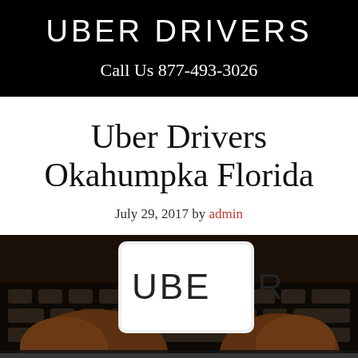UBER DRIVERS
Call Us 877-493-3026
Uber Drivers Okahumpka Florida
July 29, 2017 by admin
[Figure (photo): Hands holding a smartphone displaying the Uber app logo on a dark keyboard background]
Uber Drivers Okahumpka Florida